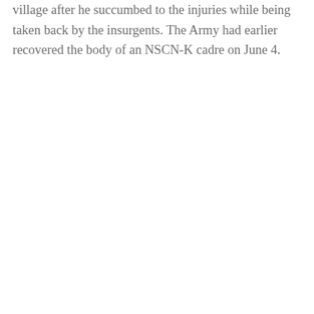village after he succumbed to the injuries while being taken back by the insurgents. The Army had earlier recovered the body of an NSCN-K cadre on June 4.